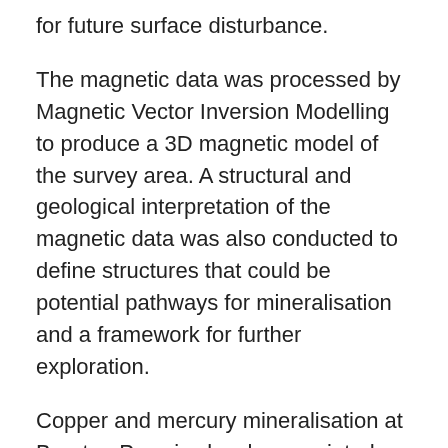for future surface disturbance.
The magnetic data was processed by Magnetic Vector Inversion Modelling to produce a 3D magnetic model of the survey area. A structural and geological interpretation of the magnetic data was also conducted to define structures that could be potential pathways for mineralisation and a framework for further exploration.
Copper and mercury mineralisation at Brunton Pass is closely associated with hornfels and skarn alteration of limestone and associated sediments that form a northwest-southeast oriented, 1km x 0.75km, “window” within younger Tertiary-age volcanic rocks. The magnetic inversion model suggests that the sediments may be underlain at shallow depth by a large intrusive body that could be the source of the